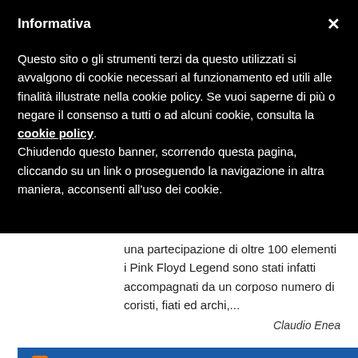Informativa
Questo sito o gli strumenti terzi da questo utilizzati si avvalgono di cookie necessari al funzionamento ed utili alle finalità illustrate nella cookie policy. Se vuoi saperne di più o negare il consenso a tutti o ad alcuni cookie, consulta la cookie policy.
Chiudendo questo banner, scorrendo questa pagina, cliccando su un link o proseguendo la navigazione in altra maniera, acconsenti all'uso dei cookie.
una partecipazione di oltre 100 elementi i Pink Floyd Legend sono stati infatti accompagnati da un corposo numero di coristi, fiati ed archi,...
Claudio Enea
VIAGGIARE
Contattaci!
"REVENGE TOURISM": CON VAMONOS VACANZE È UN'ESTATE DA NUMERI PRE...